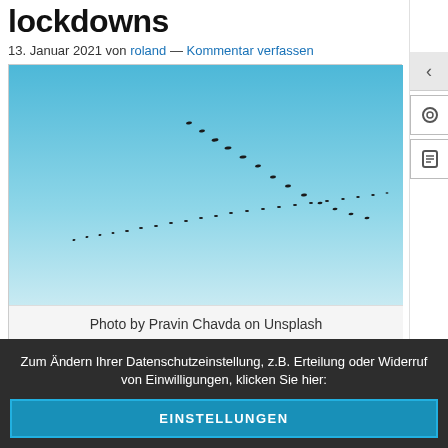lockdowns
13. Januar 2021 von roland — Kommentar verfassen
[Figure (photo): Photo of birds flying in V-formation against a blue sky, two diagonal lines of birds visible]
Photo by Pravin Chavda on Unsplash
Zum Ändern Ihrer Datenschutzeinstellung, z.B. Erteilung oder Widerruf von Einwilligungen, klicken Sie hier:
EINSTELLUNGEN